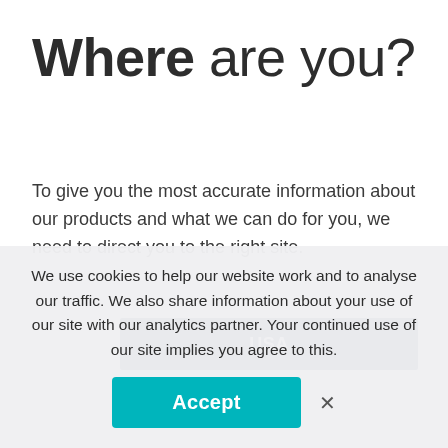Where are you?
To give you the most accurate information about our products and what we can do for you, we need to direct you to the right site.
[Figure (other): Dark blue button partially visible with text 'USA']
We use cookies to help our website work and to analyse our traffic. We also share information about your use of our site with our analytics partner. Your continued use of our site implies you agree to this.
Accept   ×